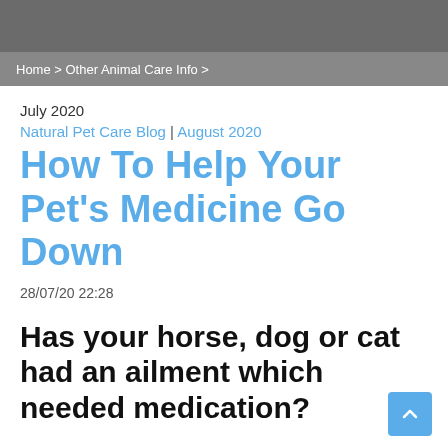Home > Other Animal Care Info >
July 2020
Natural Pet Care Blog | August 2020
How To Help Your Pet's Medicine Go Down
28/07/20 22:28
Has your horse, dog or cat had an ailment which needed medication?